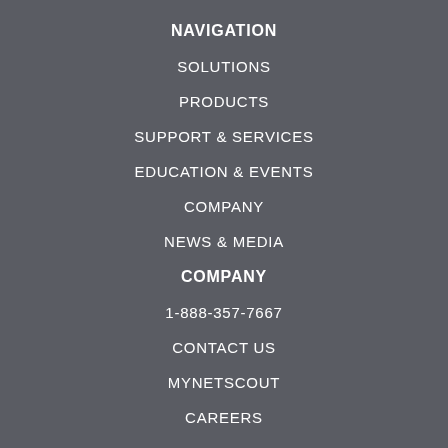NAVIGATION
SOLUTIONS
PRODUCTS
SUPPORT & SERVICES
EDUCATION & EVENTS
COMPANY
NEWS & MEDIA
COMPANY
1-888-357-7667
CONTACT US
MYNETSCOUT
CAREERS
FOR INVESTORS
PARTNERS